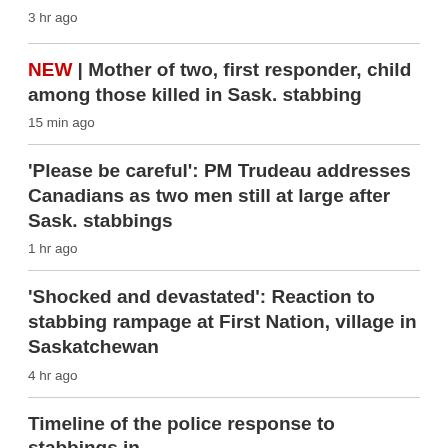3 hr ago
NEW | Mother of two, first responder, child among those killed in Sask. stabbing
15 min ago
'Please be careful': PM Trudeau addresses Canadians as two men still at large after Sask. stabbings
1 hr ago
'Shocked and devastated': Reaction to stabbing rampage at First Nation, village in Saskatchewan
4 hr ago
Timeline of the police response to stabbings in